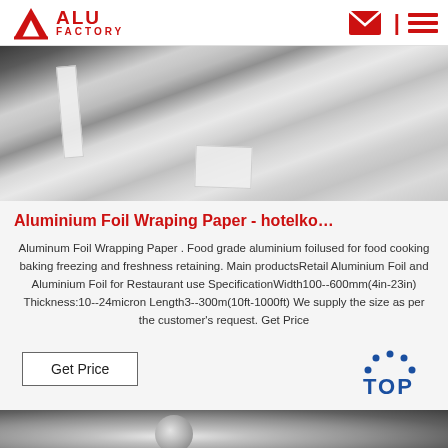ALU FACTORY
[Figure (photo): Aluminum foil sheets/rolls displayed on a dark surface, showing metallic silver foil with labels/tags attached]
Aluminium Foil Wraping Paper - hotelko…
Aluminum Foil Wrapping Paper . Food grade aluminium foilused for food cooking baking freezing and freshness retaining. Main productsRetail Aluminium Foil and Aluminium Foil for Restaurant use SpecificationWidth100--600mm(4in-23in) Thickness:10--24micron Length3--300m(10ft-1000ft) We supply the size as per the customer's request. Get Price
[Figure (photo): Aluminum foil roll close-up photo at bottom of page]